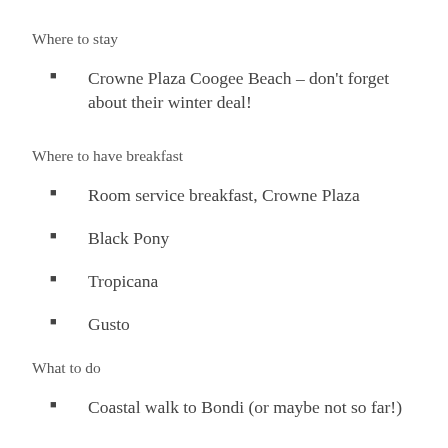Where to stay
Crowne Plaza Coogee Beach – don't forget about their winter deal!
Where to have breakfast
Room service breakfast, Crowne Plaza
Black Pony
Tropicana
Gusto
What to do
Coastal walk to Bondi (or maybe not so far!)